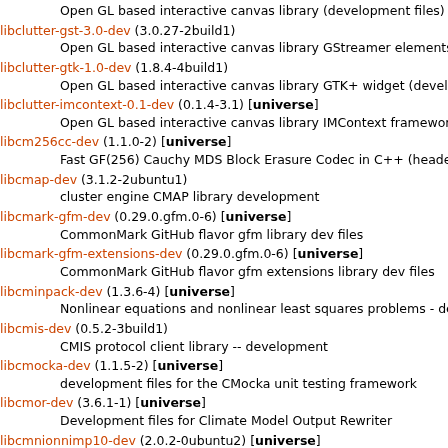Open GL based interactive canvas library (development files)
libclutter-gst-3.0-dev (3.0.27-2build1)
        Open GL based interactive canvas library GStreamer elements (dev
libclutter-gtk-1.0-dev (1.8.4-4build1)
        Open GL based interactive canvas library GTK+ widget (developme
libclutter-imcontext-0.1-dev (0.1.4-3.1) [universe]
        Open GL based interactive canvas library IMContext framework (de
libcm256cc-dev (1.1.0-2) [universe]
        Fast GF(256) Cauchy MDS Block Erasure Codec in C++ (headers)
libcmap-dev (3.1.2-2ubuntu1)
        cluster engine CMAP library development
libcmark-gfm-dev (0.29.0.gfm.0-6) [universe]
        CommonMark GitHub flavor gfm library dev files
libcmark-gfm-extensions-dev (0.29.0.gfm.0-6) [universe]
        CommonMark GitHub flavor gfm extensions library dev files
libcminpack-dev (1.3.6-4) [universe]
        Nonlinear equations and nonlinear least squares problems - develo
libcmis-dev (0.5.2-3build1)
        CMIS protocol client library -- development
libcmocka-dev (1.1.5-2) [universe]
        development files for the CMocka unit testing framework
libcmor-dev (3.6.1-1) [universe]
        Development files for Climate Model Output Rewriter
libcmnionnimp10-dev (2.0.2-0ubuntu2) [universe]